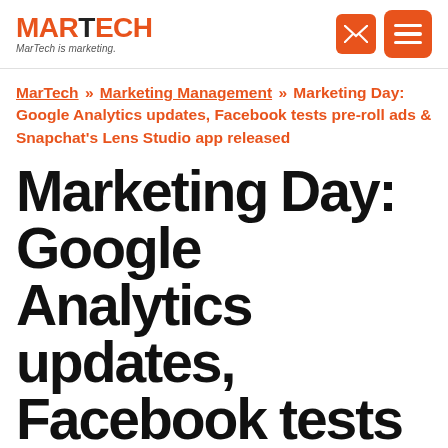MARTECH — MarTech is marketing.
MarTech » Marketing Management » Marketing Day: Google Analytics updates, Facebook tests pre-roll ads & Snapchat's Lens Studio app released
Marketing Day: Google Analytics updates, Facebook tests pre-roll ads & Snapchat's Lens Studio app released